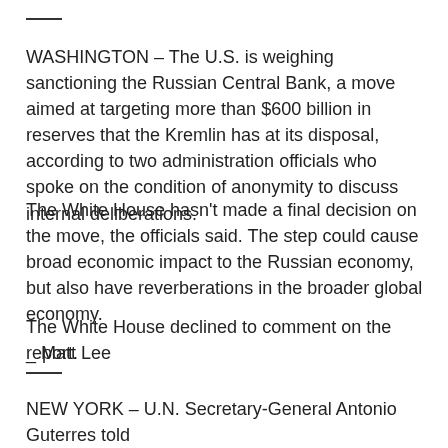WASHINGTON – The U.S. is weighing sanctioning the Russian Central Bank, a move aimed at targeting more than $600 billion in reserves that the Kremlin has at its disposal, according to two administration officials who spoke on the condition of anonymity to discuss internal deliberations.
The White House hasn't made a final decision on the move, the officials said. The step could cause broad economic impact to the Russian economy, but also have reverberations in the broader global economy.
The White House declined to comment on the report.
_ Matt Lee
NEW YORK – U.N. Secretary-General Antonio Guterres told